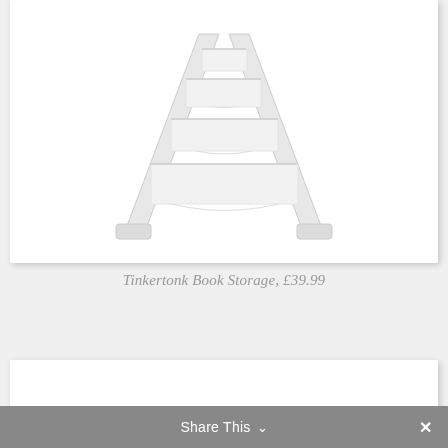[Figure (photo): White children's book storage/display rack with sling-style fabric shelves, A-frame wooden structure, shown against white background]
Tinkertonk Book Storage, £39.99
[Figure (photo): Bottom portion of another product card, partially visible]
Share This ∨  ✕